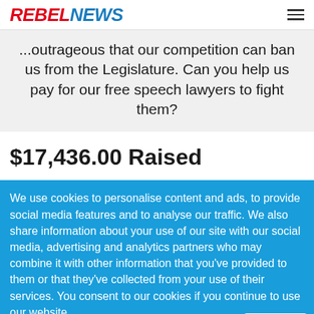REBEL NEWS
...outrageous that our competition can ban us from the Legislature. Can you help us pay for our free speech lawyers to fight them?
$17,436.00 Raised
We use cookies to personalise content and ads, to provide social media features and to analyse our traffic. We also share information about your use of our site with our social media, advertising and analytics partners who may combine it with other information that you've provided to them or that they've collected from your use of their services. You consent to our cookies if you continue to use our website.
ACCEPT  ×